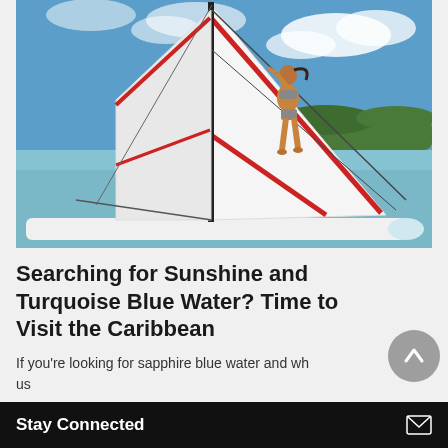[Figure (photo): Woman in bikini standing on a sailboat catamaran hull by turquoise Caribbean water, holding the mast, with blue sky and green hills in the background.]
Searching for Sunshine and Turquoise Blue Water? Time to Visit the Caribbean
If you're looking for sapphire blue water and wh... us
Stay Connected